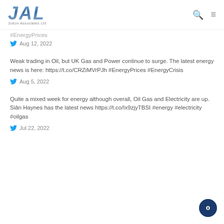JAL Jutton Associates Ltd
#EnergyPrices
Aug 12, 2022
Weak trading in Oil, but UK Gas and Power continue to surge. The latest energy news is here: https://t.co/CRZiMVrPJh #EnergyPrices #EnergyCrisis
Aug 5, 2022
Quite a mixed week for energy although overall, Oil Gas and Electricity are up. Siân Haynes has the latest news https://t.co/Ix9zjyTBSI #energy #electricity #oilgas
Jul 22, 2022